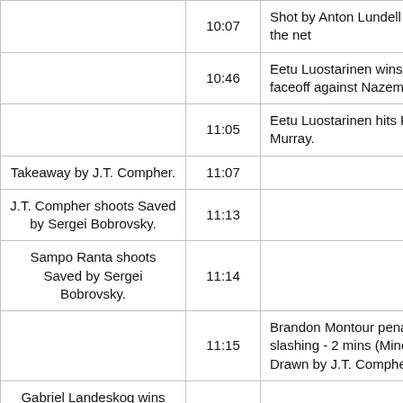| Away | Time | Home |
| --- | --- | --- |
|  | 10:07 | Shot by Anton Lundell misses the net |
|  | 10:46 | Eetu Luostarinen wins the faceoff against Nazem Kadri. |
|  | 11:05 | Eetu Luostarinen hits Ryan Murray. |
| Takeaway by J.T. Compher. | 11:07 |  |
| J.T. Compher shoots Saved by Sergei Bobrovsky. | 11:13 |  |
| Sampo Ranta shoots Saved by Sergei Bobrovsky. | 11:14 |  |
|  | 11:15 | Brandon Montour penalty for slashing - 2 mins (Minor). Drawn by J.T. Compher. |
| Gabriel Landeskog wins the faceoff against Aleksander Barkov. | 11:15 |  |